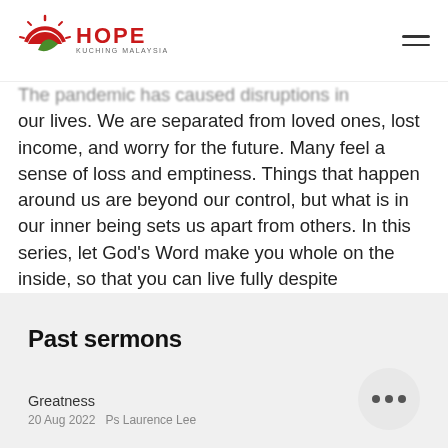HOPE KUCHING MALAYSIA
The pandemic has caused disruptions in our lives. We are separated from loved ones, lost income, and worry for the future. Many feel a sense of loss and emptiness. Things that happen around us are beyond our control, but what is in our inner being sets us apart from others. In this series, let God's Word make you whole on the inside, so that you can live fully despite challenges that come your way.
Past sermons
Greatness
20 Aug 2022   Ps Laurence Lee